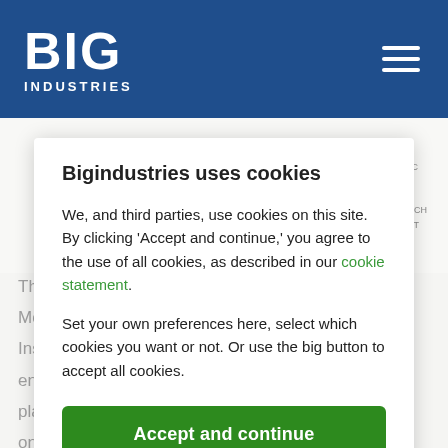BIG INDUSTRIES
[Figure (screenshot): Background sketch diagram of a streaming architecture with labels like 'STREAMING', '1 SEC', 'API', 'WATCH', 'PAY'. Partially visible behind the cookie consent modal.]
This ra... ately. Most S... ailed. Instead... enterprise... ng platform... bubble on the market? Just a new term? Or did something
Bigindustries uses cookies
We, and third parties, use cookies on this site. By clicking 'Accept and continue,' you agree to the use of all cookies, as described in our cookie statement.
Set your own preferences here, select which cookies you want or not. Or use the big button to accept all cookies.
Accept and continue